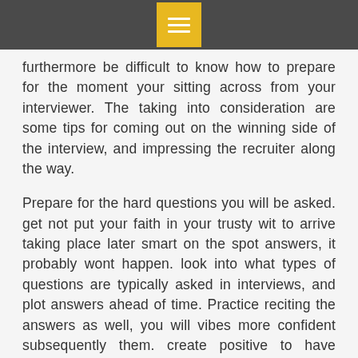furthermore be difficult to know how to prepare for the moment your sitting across from your interviewer. The taking into consideration are some tips for coming out on the winning side of the interview, and impressing the recruiter along the way.
Prepare for the hard questions you will be asked. get not put your faith in your trusty wit to arrive taking place later smart on the spot answers, it probably wont happen. look into what types of questions are typically asked in interviews, and plot answers ahead of time. Practice reciting the answers as well, you will vibes more confident subsequently them. create positive to have stories of your achievements that will affect the recruiter qualities their company looks for. choice excellent resource for